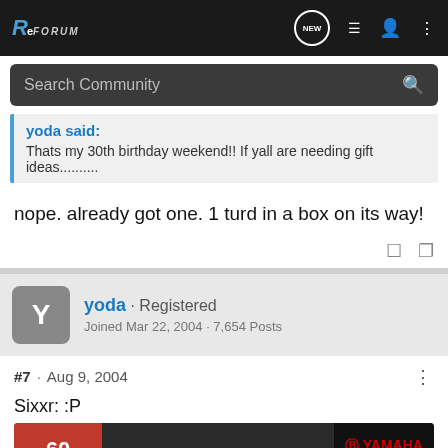RE Forum
Search Community
yoda said:
Thats my 30th birthday weekend!! If yall are needing gift ideas..........
nope. already got one. 1 turd in a box on its way!
yoda · Registered
Joined Mar 22, 2004 · 7,654 Posts
#7 · Aug 9, 2004
Sixxr: :P
[Figure (screenshot): Yamaha World GP advertisement banner with motorcycles]